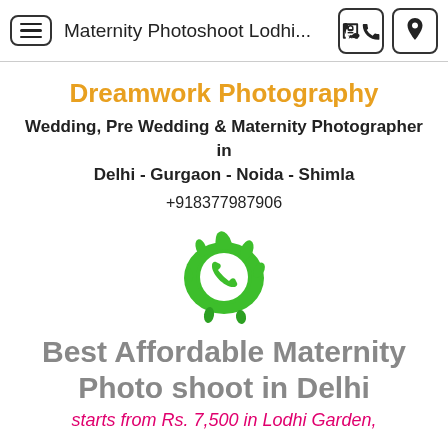Maternity Photoshoot Lodhi...
Dreamwork Photography
Wedding, Pre Wedding & Maternity Photographer in Delhi - Gurgaon - Noida - Shimla
+918377987906
[Figure (logo): WhatsApp logo icon on a green paint splash background]
Best Affordable Maternity Photo shoot in Delhi
starts from Rs. 7,500 in Lodhi Garden,